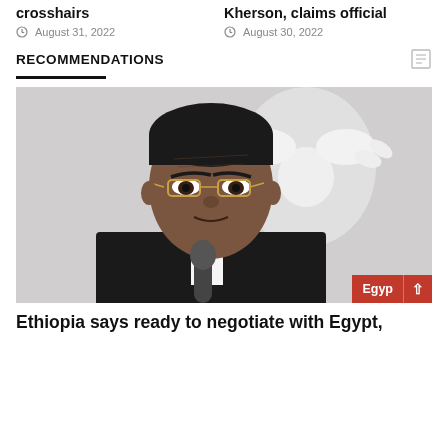crosshairs
August 31, 2022
Kherson, claims official
August 30, 2022
RECOMMENDATIONS
[Figure (photo): Man in suit with glasses speaking at a microphone, with a white eagle emblem in the background. Red badge overlay reading 'Egyp' partially visible at bottom right.]
Ethiopia says ready to negotiate with Egypt,